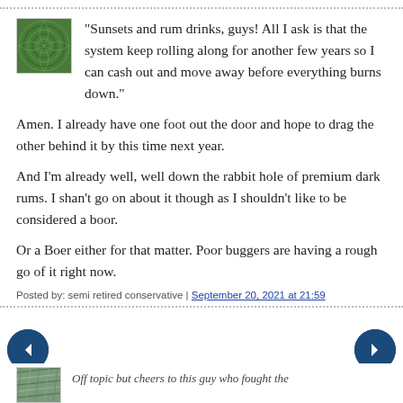"Sunsets and rum drinks, guys! All I ask is that the system keep rolling along for another few years so I can cash out and move away before everything burns down."
Amen. I already have one foot out the door and hope to drag the other behind it by this time next year.
And I'm already well, well down the rabbit hole of premium dark rums. I shan't go on about it though as I shouldn't like to be considered a boor.
Or a Boer either for that matter. Poor buggers are having a rough go of it right now.
Posted by: semi retired conservative | September 20, 2021 at 21:59
Off topic but cheers to this guy who fought the